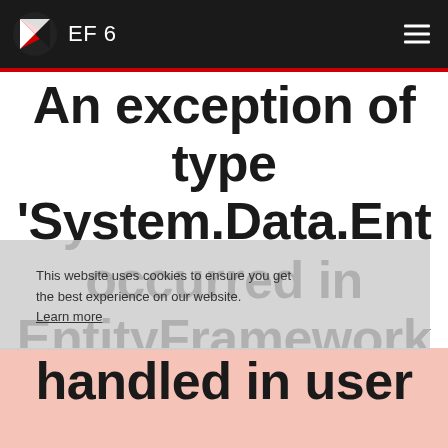EF 6
An exception of type 'System.Data.Ent occurred in EntityFramework but was not handled in user
This website uses cookies to ensure you get the best experience on our website. Learn more